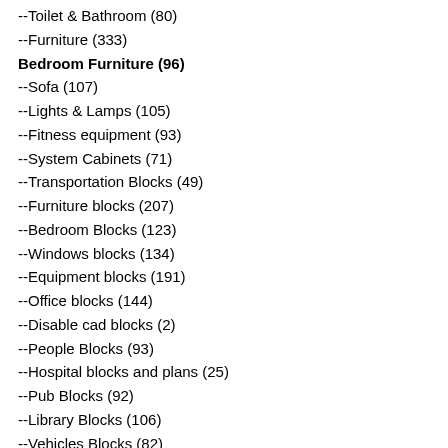--Toilet & Bathroom (80)
--Furniture (333)
Bedroom Furniture (96)
--Sofa (107)
--Lights & Lamps (105)
--Fitness equipment (93)
--System Cabinets (71)
--Transportation Blocks (49)
--Furniture blocks (207)
--Bedroom Blocks (123)
--Windows blocks (134)
--Equipment blocks (191)
--Office blocks (144)
--Disable cad blocks (2)
--People Blocks (93)
--Hospital blocks and plans (25)
--Pub Blocks (92)
--Library Blocks (106)
--Vehicles Blocks (82)
--Tree Blocks (76)